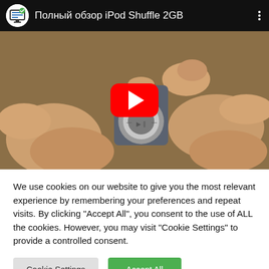[Figure (screenshot): YouTube video embed showing 'Полный обзор iPod Shuffle 2GB' with a channel icon, video title in Russian, three-dot menu, and a thumbnail of hands holding an iPod Shuffle with a red YouTube play button overlay.]
We use cookies on our website to give you the most relevant experience by remembering your preferences and repeat visits. By clicking "Accept All", you consent to the use of ALL the cookies. However, you may visit "Cookie Settings" to provide a controlled consent.
Cookie Settings
Accept All